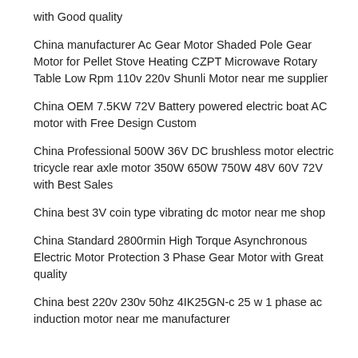with Good quality
China manufacturer Ac Gear Motor Shaded Pole Gear Motor for Pellet Stove Heating CZPT Microwave Rotary Table Low Rpm 110v 220v Shunli Motor near me supplier
China OEM 7.5KW 72V Battery powered electric boat AC motor with Free Design Custom
China Professional 500W 36V DC brushless motor electric tricycle rear axle motor 350W 650W 750W 48V 60V 72V with Best Sales
China best 3V coin type vibrating dc motor near me shop
China Standard 2800rmin High Torque Asynchronous Electric Motor Protection 3 Phase Gear Motor with Great quality
China best 220v 230v 50hz 4IK25GN-c 25 w 1 phase ac induction motor near me manufacturer